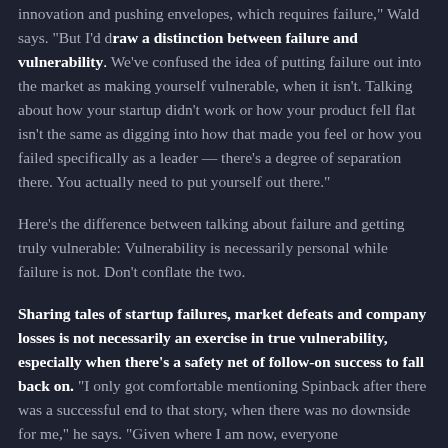innovation and pushing envelopes, which requires failure," Wald says. "But I'd draw a distinction between failure and vulnerability. We've confused the idea of putting failure out into the market as making yourself vulnerable, when it isn't. Talking about how your startup didn't work or how your product fell flat isn't the same as digging into how that made you feel or how you failed specifically as a leader — there's a degree of separation there. You actually need to put yourself out there."
Here's the difference between talking about failure and getting truly vulnerable: Vulnerability is necessarily personal while failure is not. Don't conflate the two.
Sharing tales of startup failures, market defeats and company losses is not necessarily an exercise in true vulnerability, especially when there's a safety net of follow-on success to fall back on. "I only got comfortable mentioning Spinback after there was a successful end to that story, when there was no downside for me," he says. "Given where I am now, everyone...